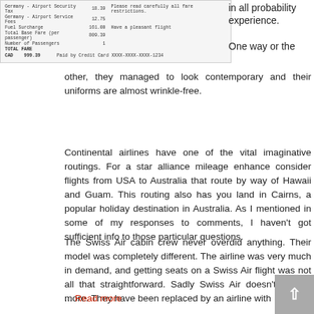[Figure (screenshot): Partial airline ticket/receipt showing fare breakdown with rows for Germany Airport Security Tax, Germany Airport Service Fees, Fuel Surcharge, Total Base Fare, Number of Passengers, TOTAL FARE CAD 999.39. Paid by Credit Card XXXX-XXXX-XXXX-1234. Also shows 'Have a pleasant flight' message.]
in all probability experience. One way or the other, they managed to look contemporary and their uniforms are almost wrinkle-free.
Continental airlines have one of the vital imaginative routings. For a star alliance mileage enhance consider flights from USA to Australia that route by way of Hawaii and Guam. This routing also has you land in Cairns, a popular holiday destination in Australia. As I mentioned in some of my responses to comments, I haven't got sufficient info to those particular questions.
The Swiss Air cabin crew never overdid anything. Their model was completely different. The airline was very much in demand, and getting seats on a Swiss Air flight was not all that straightforward. Sadly Swiss Air doesn't fly any more. They have been replaced by an airline with ... Read more